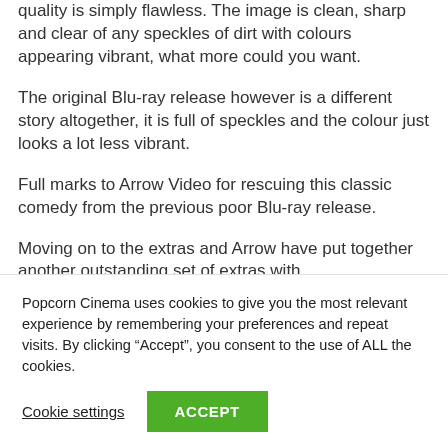quality is simply flawless. The image is clean, sharp and clear of any speckles of dirt with colours appearing vibrant, what more could you want.
The original Blu-ray release however is a different story altogether, it is full of speckles and the colour just looks a lot less vibrant.
Full marks to Arrow Video for rescuing this classic comedy from the previous poor Blu-ray release.
Moving on to the extras and Arrow have put together another outstanding set of extras with
Popcorn Cinema uses cookies to give you the most relevant experience by remembering your preferences and repeat visits. By clicking “Accept”, you consent to the use of ALL the cookies.
Cookie settings
ACCEPT